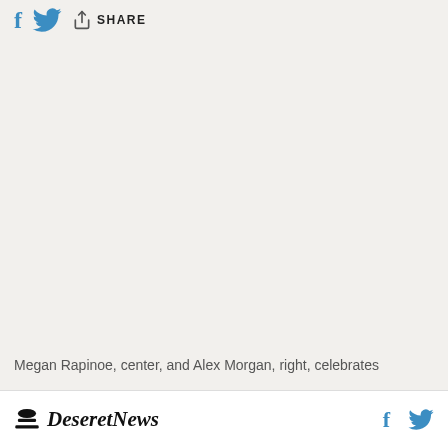f [twitter] SHARE
[Figure (photo): Large image area showing Megan Rapinoe and Alex Morgan celebrating — image content not visible in this crop, appears as blank/light area]
Megan Rapinoe, center, and Alex Morgan, right, celebrates
Deseret News [facebook] [twitter]